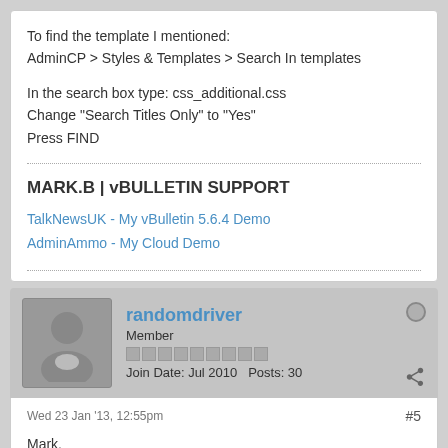To find the template I mentioned:
AdminCP > Styles & Templates > Search In templates
In the search box type: css_additional.css
Change "Search Titles Only" to "Yes"
Press FIND
MARK.B | vBULLETIN SUPPORT
TalkNewsUK - My vBulletin 5.6.4 Demo
AdminAmmo - My Cloud Demo
randomdriver
Member
Join Date: Jul 2010   Posts: 30
Wed 23 Jan '13, 12:55pm
#5
Mark,

Thanks for the tip, I will send a suggestion.

Looks like we can also edit css_global.css as that is what I really